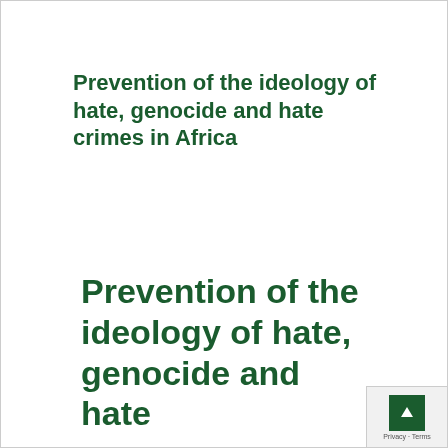Prevention of the ideology of hate, genocide and hate crimes in Africa
Prevention of the ideology of hate, genocide and hate